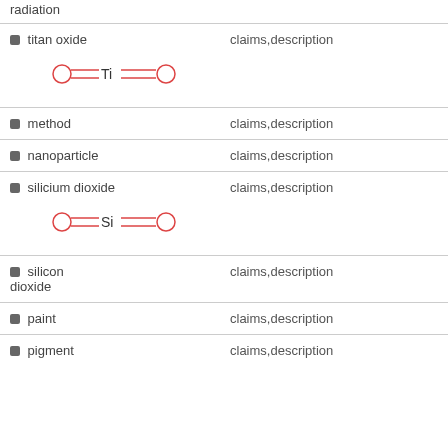radiation
titan oxide — claims,description
[Figure (schematic): Chemical structure diagram: O-Ti-O linear molecule with double bonds shown as parallel lines]
method — claims,description
nanoparticle — claims,description
silicium dioxide — claims,description
[Figure (schematic): Chemical structure diagram: O-Si-O linear molecule with double bonds shown as parallel lines]
silicon dioxide — claims,description
paint — claims,description
pigment — claims,description